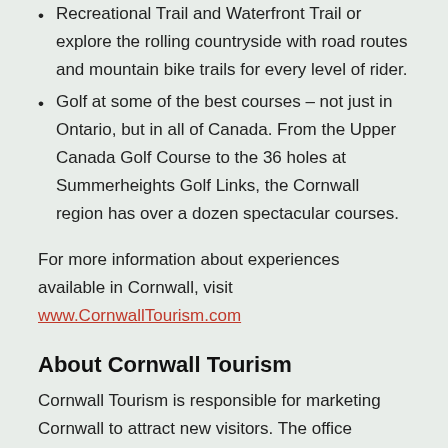Recreational Trail and Waterfront Trail or explore the rolling countryside with road routes and mountain bike trails for every level of rider.
Golf at some of the best courses – not just in Ontario, but in all of Canada. From the Upper Canada Golf Course to the 36 holes at Summerheights Golf Links, the Cornwall region has over a dozen spectacular courses.
For more information about experiences available in Cornwall, visit www.CornwallTourism.com
About Cornwall Tourism
Cornwall Tourism is responsible for marketing Cornwall to attract new visitors. The office maintains a visitor information centre year-round at the Civic Complex. CornwallTourism.com is an online resource that provides current tourism news as well as a comprehensive calendar